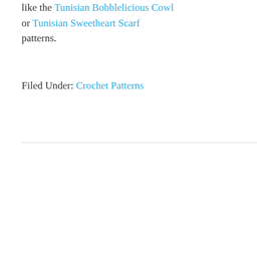like the Tunisian Bobblelicious Cowl or Tunisian Sweetheart Scarf patterns.
Filed Under: Crochet Patterns